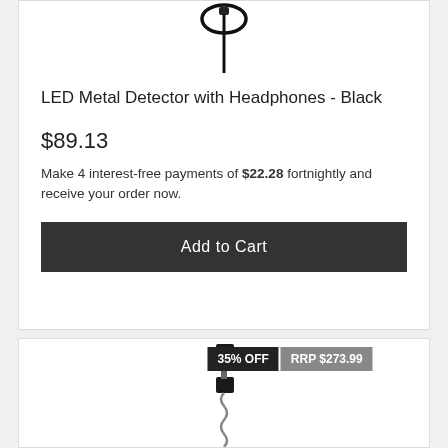[Figure (photo): LED Metal Detector with Headphones - Black, product image showing circular detector head on a stick]
LED Metal Detector with Headphones - Black
$89.13
Make 4 interest-free payments of $22.28 fortnightly and receive your order now.
Add to Cart
[Figure (photo): Second product image showing a metal detector or similar device, partially visible, with badges showing 35% OFF and RRP $273.99]